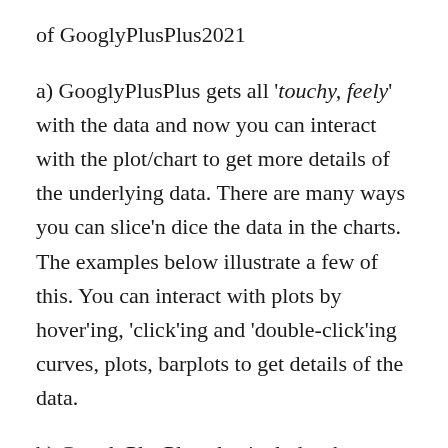of GooglyPlusPlus2021
a) GooglyPlusPlus gets all 'touchy, feely' with the data and now you can interact with the plot/chart to get more details of the underlying data. There are many ways you can slice'n dice the data in the charts. The examples below illustrate a few of this. You can interact with plots by hover'ing, 'click'ing and 'double-click'ing curves, plots, barplots to get details of the data.
b) GooglyPlusPlus also includes the 'Super Smash T20' league from New Zealand. You can analyze batsmen, bowlers, matches, teams and rank Super Smash (SSM) also